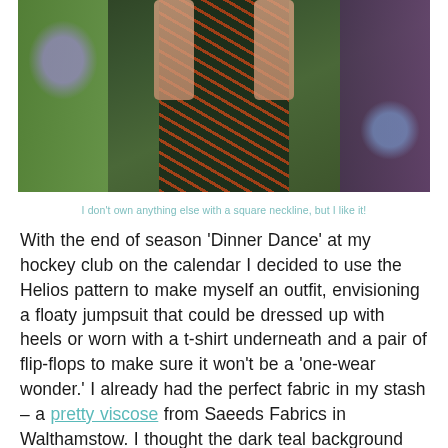[Figure (photo): A person wearing a dark teal jumpsuit with red floral pattern, standing in front of garden foliage with purple flowers and dark leafy branches.]
I don't own anything else with a square neckline, but I like it!
With the end of season 'Dinner Dance' at my hockey club on the calendar I decided to use the Helios pattern to make myself an outfit, envisioning a floaty jumpsuit that could be dressed up with heels or worn with a t-shirt underneath and a pair of flip-flops to make sure it won't be a 'one-wear wonder.' I already had the perfect fabric in my stash – a pretty viscose from Saeeds Fabrics in Walthamstow. I thought the dark teal background would fit in with the